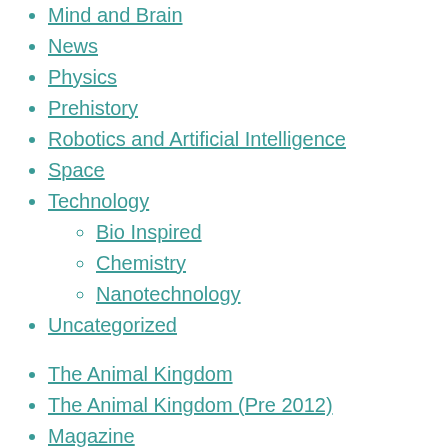Mind and Brain
News
Physics
Prehistory
Robotics and Artificial Intelligence
Space
Technology
Bio Inspired
Chemistry
Nanotechnology
Uncategorized
The Animal Kingdom
The Animal Kingdom (Pre 2012)
Magazine
About Us
Tags
alcohol Asteroid Autism Bacteria Biodiversity brain